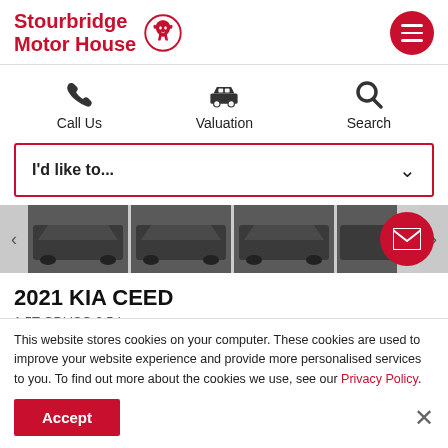[Figure (logo): Stourbridge Motor House logo with red Vauxhall griffin emblem]
[Figure (screenshot): Hamburger menu button (red circle with three white lines)]
[Figure (infographic): Three navigation icons: phone (Call Us), car (Valuation), magnifier (Search)]
I'd like to...
[Figure (photo): Strip of car thumbnail images showing a dark KIA Ceed from multiple angles]
2021 KIA CEED
1.5T GDi ISG 2 5dr
This website stores cookies on your computer. These cookies are used to improve your website experience and provide more personalised services to you. To find out more about the cookies we use, see our Privacy Policy.
Accept